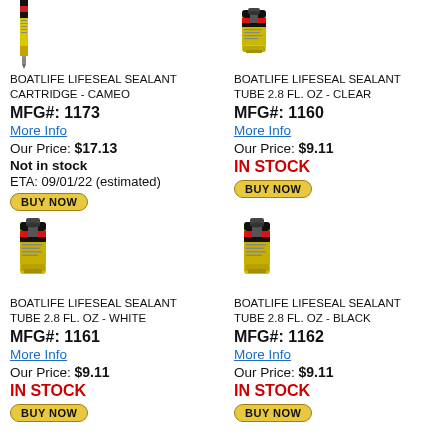[Figure (photo): Boatlife Lifeseal Sealant Cartridge - Cameo product image]
BOATLIFE LIFESEAL SEALANT CARTRIDGE - CAMEO
MFG#: 1173
More Info
Our Price: $17.13
Not in stock
ETA: 09/01/22 (estimated)
BUY NOW
[Figure (photo): Boatlife Lifeseal Sealant Tube 2.8 FL. OZ - Clear product image]
BOATLIFE LIFESEAL SEALANT TUBE 2.8 FL. OZ - CLEAR
MFG#: 1160
More Info
Our Price: $9.11
IN STOCK
BUY NOW
[Figure (photo): Boatlife Lifeseal Sealant Tube 2.8 FL. OZ - White product image]
BOATLIFE LIFESEAL SEALANT TUBE 2.8 FL. OZ - WHITE
MFG#: 1161
More Info
Our Price: $9.11
IN STOCK
BUY NOW
[Figure (photo): Boatlife Lifeseal Sealant Tube 2.8 FL. OZ - Black product image]
BOATLIFE LIFESEAL SEALANT TUBE 2.8 FL. OZ - BLACK
MFG#: 1162
More Info
Our Price: $9.11
IN STOCK
BUY NOW